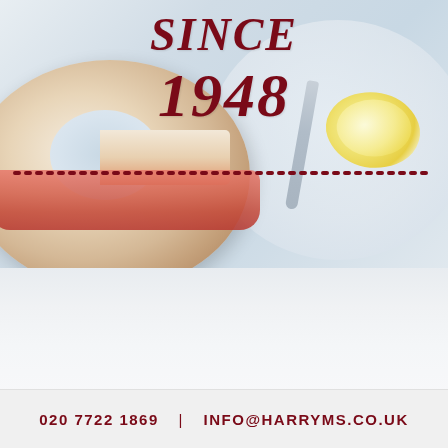[Figure (photo): A bagel with smoked salmon filling on a light blue plate with a knife and lemon wedge, light/white background. Text overlay reads SINCE 1948 in bold dark red italic font with a dotted red separator line.]
020 7722 1869   |   INFO@HARRYMS.CO.UK